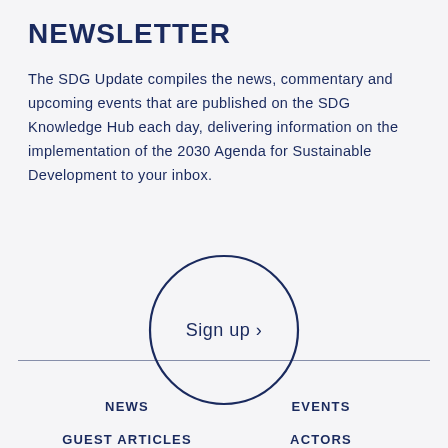NEWSLETTER
The SDG Update compiles the news, commentary and upcoming events that are published on the SDG Knowledge Hub each day, delivering information on the implementation of the 2030 Agenda for Sustainable Development to your inbox.
[Figure (other): A circular button with 'Sign up >' text inside a dark blue circle border]
NEWS
EVENTS
GUEST ARTICLES
ACTORS